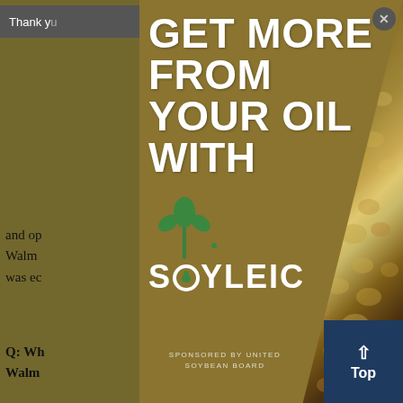[Figure (screenshot): A modal advertisement popup overlaying an article page. The modal has a gold/olive colored left panel with white bold headline text reading 'GET MORE FROM YOUR OIL WITH' and the Soyleic brand logo (green plant icon above stylized text 'SOYLEIC'). The right portion shows a macro photo of soybeans. Bottom of modal shows 'SPONSORED BY UNITED SOYBEAN BOARD'. A close (X) button is in the top right of the modal. Behind the modal is a partially visible article with text including 'Thank you', 'and op', 'Walm', 'view', 'was ec', 'Q: Wh', 'Walm', 'Fone:', 'No', 'two da', 'hing', 'from s', 'd', 'appro', 'goods', 'into o'. A 'Top' navigation button is in the bottom right corner.]
GET MORE FROM YOUR OIL WITH
[Figure (logo): Soyleic brand logo with green plant/leaves icon and stylized text SOYLEIC]
SPONSORED BY UNITED SOYBEAN BOARD